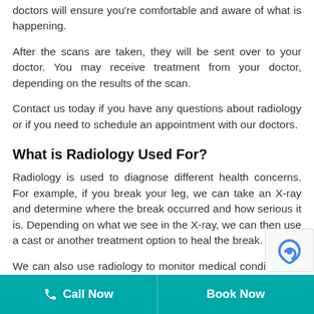doctors will ensure you're comfortable and aware of what is happening.
After the scans are taken, they will be sent over to your doctor. You may receive treatment from your doctor, depending on the results of the scan.
Contact us today if you have any questions about radiology or if you need to schedule an appointment with our doctors.
What is Radiology Used For?
Radiology is used to diagnose different health concerns. For example, if you break your leg, we can take an X-ray and determine where the break occurred and how serious it is. Depending on what we see in the X-ray, we can then use a cast or another treatment option to heal the break.
We can also use radiology to monitor medical conditions. If you are pregnant, you will have se
Call Now   Book Now